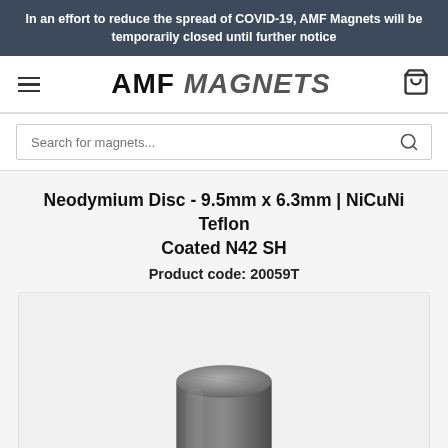In an effort to reduce the spread of COVID-19, AMF Magnets will be temporarily closed until further notice
[Figure (logo): AMF Magnets logo with hamburger menu icon on left and shopping cart icon on right]
Search for magnets...
Neodymium Disc - 9.5mm x 6.3mm | NiCuNi Teflon Coated N42 SH
Product code: 20059T
[Figure (photo): Photo of a small cylindrical neodymium disc magnet with dark grey metallic finish, shown against a light grey background]